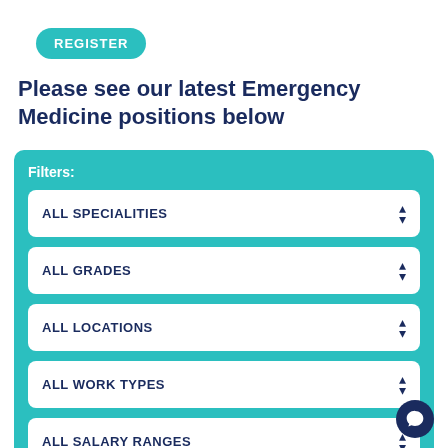[Figure (other): Teal rounded REGISTER button]
Please see our latest Emergency Medicine positions below
Filters:
ALL SPECIALITIES
ALL GRADES
ALL LOCATIONS
ALL WORK TYPES
ALL SALARY RANGES
Sort By: